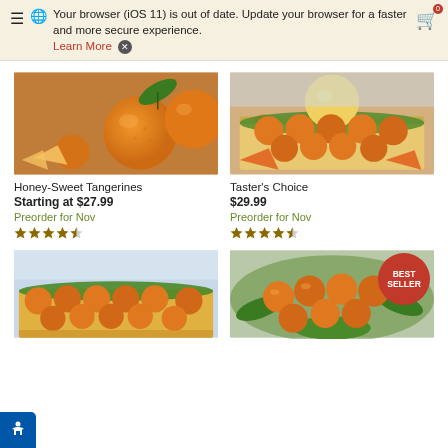Your browser (iOS 11) is out of date. Update your browser for a faster and more secure experience. Learn More X
[Figure (photo): Close-up photo of honey-sweet tangerines with green leaf]
Honey-Sweet Tangerines
Starting at $27.99
Preorder for Nov
[Figure (photo): Box of assorted citrus fruits including grapefruits and tangerines]
Taster's Choice
$29.99
Preorder for Nov
[Figure (photo): Box of tangerines arranged in rows with green tissue paper]
[Figure (photo): Box of tangerines with Best Seller badge, green paper display]